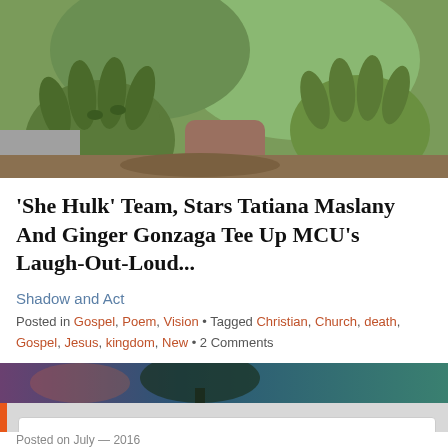[Figure (photo): Close-up of green Hulk-like hands/characters from She-Hulk MCU show]
'She Hulk' Team, Stars Tatiana Maslany And Ginger Gonzaga Tee Up MCU's Laugh-Out-Loud...
Shadow and Act
Posted in Gospel, Poem, Vision • Tagged Christian, Church, death, Gospel, Jesus, kingdom, New • 2 Comments
[Figure (photo): Background image strip with purple and teal tones, partial view of next article]
Privacy & Cookies: This site uses cookies. By continuing to use this website, you agree to their use. To find out more, including how to control cookies, see here: Cookie Policy
Close and accept
Posted on July — 2016